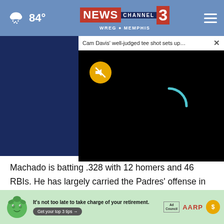NEWS 3 CHANNEL WREG MEMPHIS — 84°
[Figure (screenshot): Video player popup showing 'Cam Davis' well-judged tee shot sets up...' with mute button and loading spinner on black background]
Machado is batting .328 with 12 homers and 46 RBIs. He has largely carried the Padres' offense in the absence of All-Star shortstop Fernando Tatis Jr., who remains out while rehabbing his surgically repaired left wrist.
1998
[Figure (infographic): AARP advertisement banner: green mascot character, text 'It’s not too late to take charge of your retirement. Get your top 3 tips →', Ad Council logo, AARP logo, sun icon]